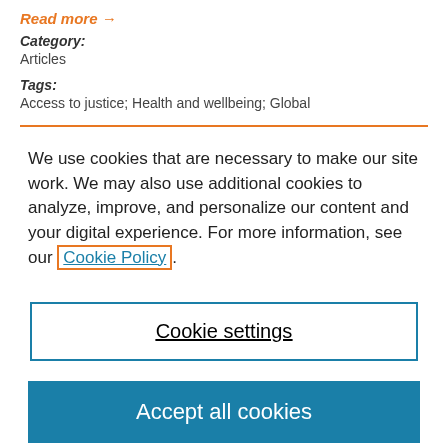Read more →
Category:
Articles
Tags:
Access to justice; Health and wellbeing; Global
We use cookies that are necessary to make our site work. We may also use additional cookies to analyze, improve, and personalize our content and your digital experience. For more information, see our Cookie Policy.
Cookie settings
Accept all cookies